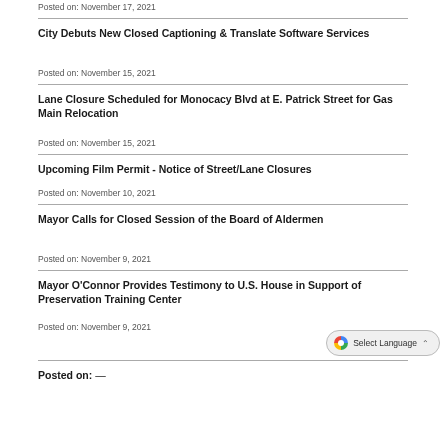Posted on: November 17, 2021
City Debuts New Closed Captioning & Translate Software Services
Posted on: November 15, 2021
Lane Closure Scheduled for Monocacy Blvd at E. Patrick Street for Gas Main Relocation
Posted on: November 15, 2021
Upcoming Film Permit - Notice of Street/Lane Closures
Posted on: November 10, 2021
Mayor Calls for Closed Session of the Board of Aldermen
Posted on: November 9, 2021
Mayor O'Connor Provides Testimony to U.S. House in Support of Preservation Training Center
Posted on: November 9, 2021
Select Language